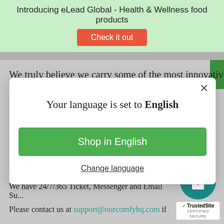Introducing eLead Global - Health & Wellness food products
[Figure (screenshot): Orange 'Check it out' button on green banner]
We truly believe we carry some of the most innovative
[Figure (screenshot): Modal dialog with language selection. Title: 'Your language is set to English'. Green button 'Shop in English'. Link 'Change language'. Close X button.]
something and trying it out. If you don't like it, no hard feelings we'll make it right.
We have 24/7/365 Ticket, Messenger and Email Su...
Please contact us at support@ourcomfyhq.com if
[Figure (logo): TrustedSite CERTIFIED SECURE badge with teal shopping bag icon]